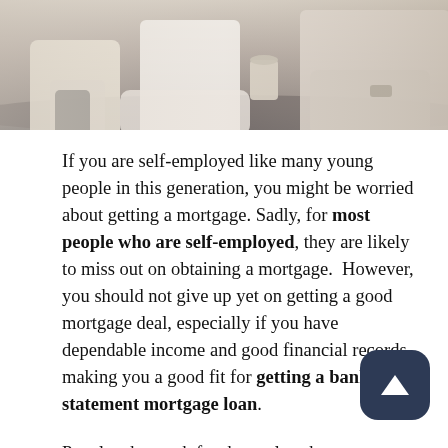[Figure (photo): Photo of people sitting at a table in a meeting or consultation setting, partially cropped at top. Shows arms, hands, a coffee cup, and business attire.]
If you are self-employed like many young people in this generation, you might be worried about getting a mortgage. Sadly, for most people who are self-employed, they are likely to miss out on obtaining a mortgage.  However, you should not give up yet on getting a good mortgage deal, especially if you have dependable income and good financial records making you a good fit for getting a bank statement mortgage loan.
People who work for themselves have more complex earnings and have to prove their earnings unlike people who are employed whose record of earnings enables them to access mortgages without going through rigorous background checks. Therefore, for individuals who are self-employed, a bank statement mortgage is